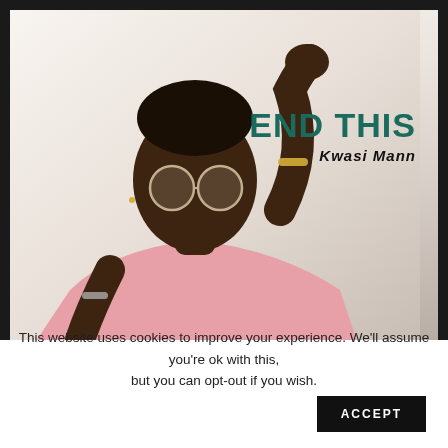[Figure (photo): Promotional photo of a young Black man wearing round glasses and a pink t-shirt, with one hand raised touching his hair and the other arm resting forward. The image has a light grey-white background. Overlaid text reads 'END THIS' in large teal/dark green bold capitals, and below it 'Kwasi Mann' in a stylized handwritten signature font.]
This website uses cookies to improve your experience. We'll assume you're ok with this, but you can opt-out if you wish.
ACCEPT